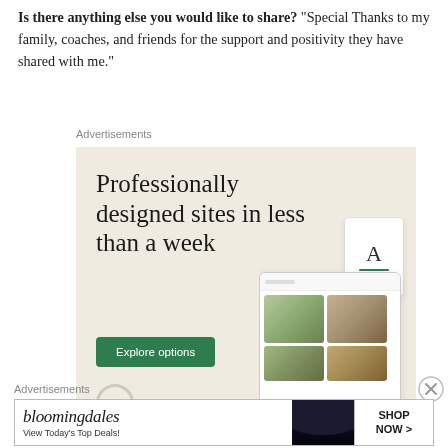Is there anything else you would like to share? "Special Thanks to my family, coaches, and friends for the support and positivity they have shared with me."
Advertisements
[Figure (illustration): Advertisement for a website building service. Beige background with text 'Professionally designed sites in less than a week', a green 'Explore options' button, and mock website screenshot images on the right side.]
Advertisements
[Figure (illustration): Bloomingdale's advertisement banner with logo, 'View Today's Top Deals!' text, a woman in a large hat, and 'SHOP NOW >' button.]